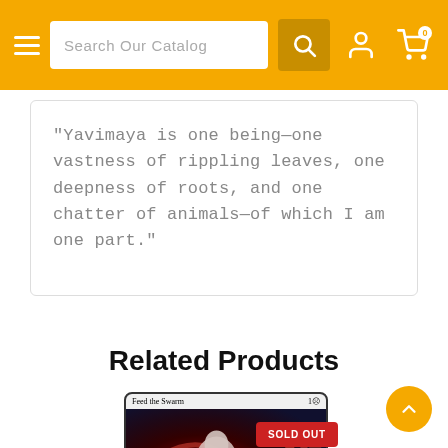Search Our Catalog
"Yavimaya is one being—one vastness of rippling leaves, one deepness of roots, and one chatter of animals—of which I am one part."
Related Products
[Figure (photo): Magic: The Gathering card named 'Feed the Swarm' showing a dark fantasy illustration of a pale figure surrounded by red swirling elements, labeled as Sorcery. A red 'SOLD OUT' badge overlays the card.]